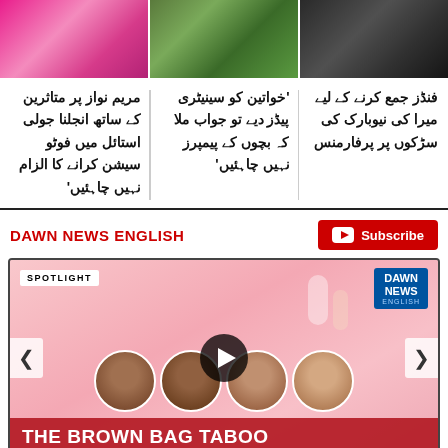[Figure (photo): Three news story thumbnail photos side by side: woman in pink traditional dress, women in green/colorful dress, dark background with people]
مریم نواز پر متاثرین کے ساتھ انجلنا جولی کی استائل میں فوٹو سیشن کرانے کا الزام نہیں چاہئیں
'خواتین کو سینیٹری کے بچوں کے پیمپرز تو جواب ملا کہ بچوں کے پیمپرز نہیں چاہئیں'
فنڈز جمع کرنے کے لیے میرا کی نیوبارک کی سڑکوں پر پرفارمنس
DAWN NEWS ENGLISH
[Figure (screenshot): Dawn News English video player showing 'THE BROWN BAG TABOO' Spotlight segment with four circular portrait images of women panelists, play button overlay, Dawn News English logo in top right, and navigation arrows on sides]